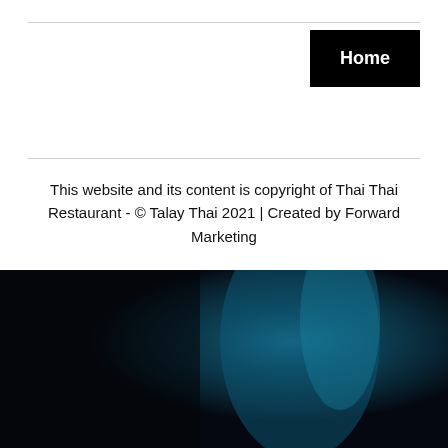Home
This website and its content is copyright of Thai Thai Restaurant - © Talay Thai 2021 | Created by Forward Marketing
[Figure (photo): Dark atmospheric image with blue tones, appears to show a dark interior or night scene with teal/cyan lighting accents]